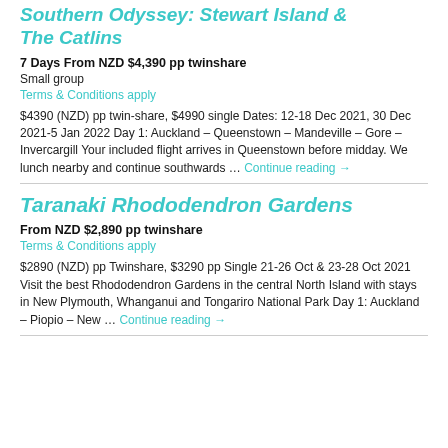Southern Odyssey: Stewart Island & The Catlins
7 Days From NZD $4,390 pp twinshare
Small group
Terms & Conditions apply
$4390 (NZD) pp twin-share, $4990 single Dates: 12-18 Dec 2021, 30 Dec 2021-5 Jan 2022 Day 1: Auckland – Queenstown – Mandeville – Gore – Invercargill Your included flight arrives in Queenstown before midday. We lunch nearby and continue southwards … Continue reading →
Taranaki Rhododendron Gardens
From NZD $2,890 pp twinshare
Terms & Conditions apply
$2890 (NZD) pp Twinshare, $3290 pp Single 21-26 Oct & 23-28 Oct 2021 Visit the best Rhododendron Gardens in the central North Island with stays in New Plymouth, Whanganui and Tongariro National Park Day 1: Auckland – Piopio – New … Continue reading →